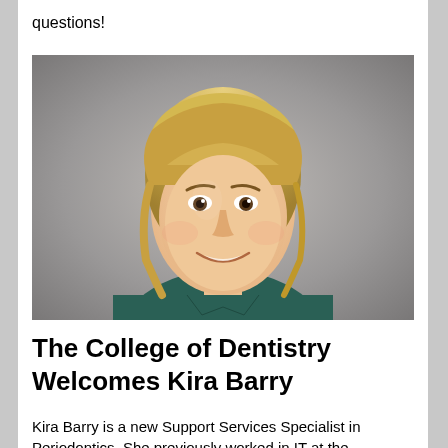questions!
[Figure (photo): Professional headshot of Kira Barry, a young woman with blonde hair pulled back, wearing a dark teal/green top, smiling, against a grey gradient background.]
The College of Dentistry Welcomes Kira Barry
Kira Barry is a new Support Services Specialist in Periodontics. She previously worked in IT at the